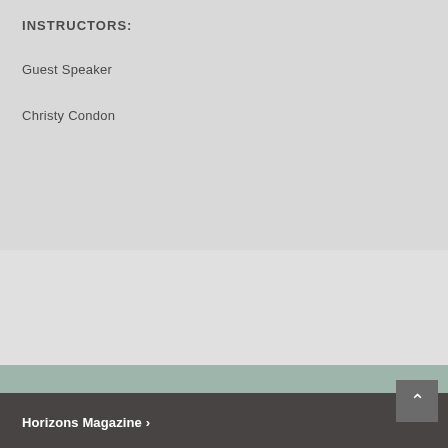INSTRUCTORS:
Guest Speaker
Christy Condon
Horizons Magazine ›